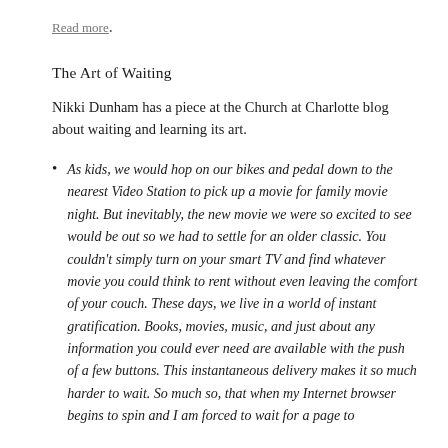Read more.
The Art of Waiting
Nikki Dunham has a piece at the Church at Charlotte blog about waiting and learning its art.
As kids, we would hop on our bikes and pedal down to the nearest Video Station to pick up a movie for family movie night. But inevitably, the new movie we were so excited to see would be out so we had to settle for an older classic. You couldn't simply turn on your smart TV and find whatever movie you could think to rent without even leaving the comfort of your couch. These days, we live in a world of instant gratification. Books, movies, music, and just about any information you could ever need are available with the push of a few buttons. This instantaneous delivery makes it so much harder to wait. So much so, that when my Internet browser begins to spin and I am forced to wait for a page to